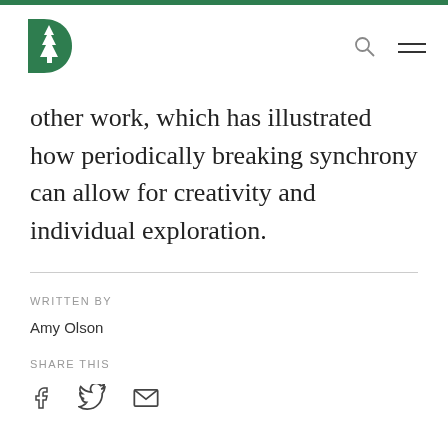[Figure (logo): Dartmouth College green pine tree logo]
other work, which has illustrated how periodically breaking synchrony can allow for creativity and individual exploration.
WRITTEN BY
Amy Olson
SHARE THIS
[Figure (illustration): Share icons: Facebook, Twitter, Email]